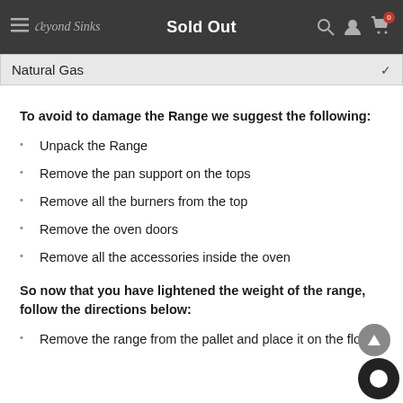Sold Out — Beyond Sinks
Natural Gas
To avoid to damage the Range we suggest the following:
Unpack the Range
Remove the pan support on the tops
Remove all the burners from the top
Remove the oven doors
Remove all the accessories inside the oven
So now that you have lightened the weight of the range, follow the directions below:
Remove the range from the pallet and place it on the flo